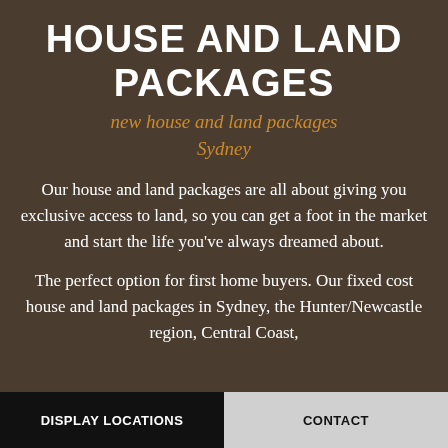HOUSE AND LAND PACKAGES
new house and land packages Sydney
Our house and land packages are all about giving you exclusive access to land, so you can get a foot in the market and start the life you’ve always dreamed about.
The perfect option for first home buyers. Our fixed cost house and land packages in Sydney, the Hunter/Newcastle region, Central Coast,
DISPLAY LOCATIONS    CONTACT